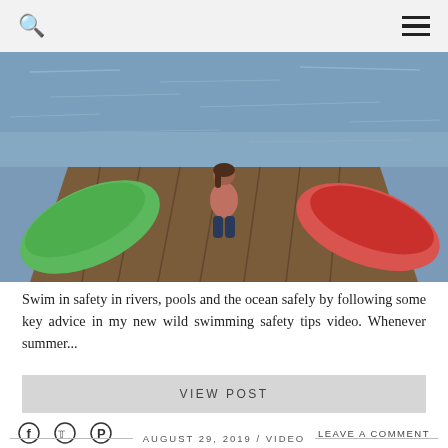Search | Menu
[Figure (photo): A woman in a swimsuit sits at the edge of a wooden dock overlooking water, with a green kayak on the left and a red kayak on the right.]
Swim in safety in rivers, pools and the ocean safely by following some key advice in my new wild swimming safety tips video. Whenever summer...
VIEW POST
LEAVE A COMMENT
AUGUST 29, 2019 / VIDEO